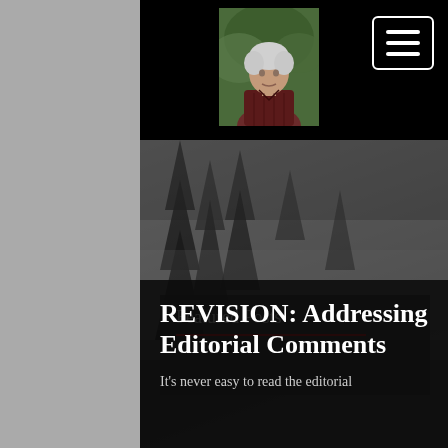[Figure (photo): Headshot photo of an older man with white hair wearing a dark red striped shirt, outdoors with green foliage behind him]
[Figure (other): Hamburger menu button icon with three horizontal white bars inside a white-bordered rounded rectangle on a black background]
[Figure (photo): Misty dark forest with tall pine/fir trees partially obscured by fog, black and white/gray tones]
Featured Posts
REVISION: Addressing Editorial Comments
It's never easy to read the editorial